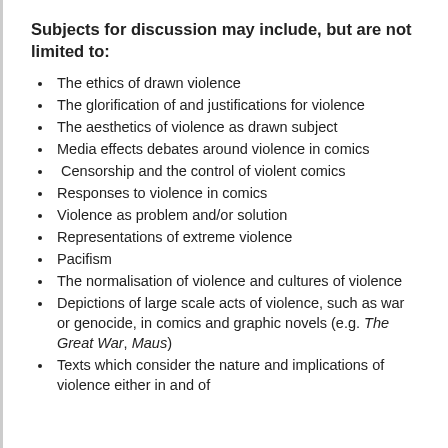Subjects for discussion may include, but are not limited to:
The ethics of drawn violence
The glorification of and justifications for violence
The aesthetics of violence as drawn subject
Media effects debates around violence in comics
Censorship and the control of violent comics
Responses to violence in comics
Violence as problem and/or solution
Representations of extreme violence
Pacifism
The normalisation of violence and cultures of violence
Depictions of large scale acts of violence, such as war or genocide, in comics and graphic novels (e.g. The Great War, Maus)
Texts which consider the nature and implications of violence either in and of